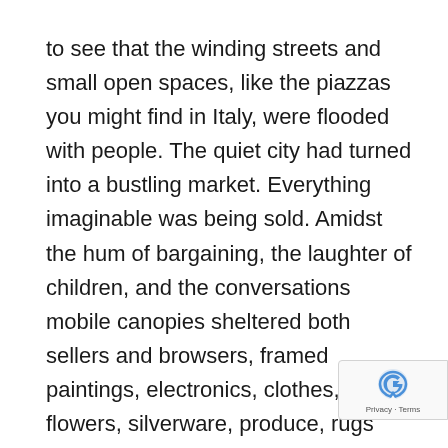to see that the winding streets and small open spaces, like the piazzas you might find in Italy, were flooded with people. The quiet city had turned into a bustling market. Everything imaginable was being sold. Amidst the hum of bargaining, the laughter of children, and the conversations mobile canopies sheltered both sellers and browsers, framed paintings, electronics, clothes, lamps, flowers, silverware, produce, rugs and other home furnishings.
The origin of the phrase flea market is difficult to trace. One theory suggests it grew from Manhattan’s 18th century Fly Market, from the Dutch word v meaning “valley,” on Maiden Lane which later b the Fulton Fish Market. Arguably the most popular